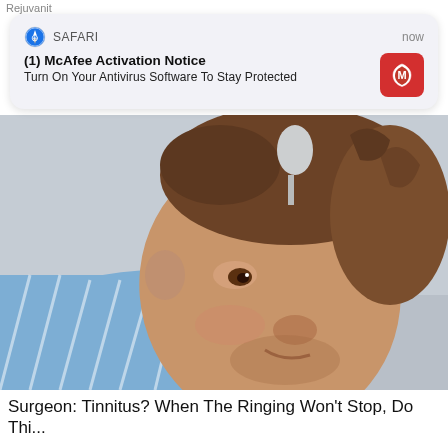Rejuvanit
[Figure (screenshot): iOS Safari push notification popup with McAfee branding. Header: 'SAFARI' with compass icon and 'now' timestamp. Title: '(1) McAfee Activation Notice'. Body: 'Turn On Your Antivirus Software To Stay Protected'. McAfee red shield icon on right.]
[Figure (photo): Photo of a man with curly brown hair tilting his head sideways, wearing a blue striped shirt, with a medical IV line near his ear/neck area.]
Surgeon: Tinnitus? When The Ringing Won't Stop, Do Thi...